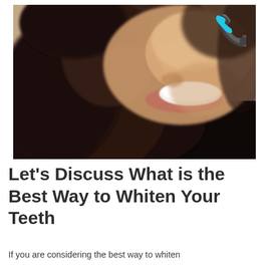[Figure (photo): Close-up photo of a woman with dark wavy hair smiling broadly, showing white teeth. A cyan/turquoise phone handset icon is overlaid in the top-right corner of the image.]
Let's Discuss What is the Best Way to Whiten Your Teeth
If you are considering the best way to whiten